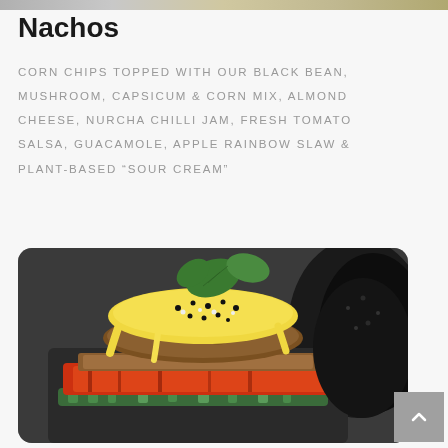[Figure (photo): Top cropped food image strip showing colorful food items]
Nachos
CORN CHIPS TOPPED WITH OUR BLACK BEAN, MUSHROOM, CAPSICUM & CORN MIX, ALMOND CHEESE, NURCHA CHILLI JAM, FRESH TOMATO SALSA, GUACAMOLE, APPLE RAINBOW SLAW & PLANT-BASED “SOUR CREAM”
[Figure (photo): A plated food dish showing a stacked burger or benedict style dish with yellow hollandaise sauce, black sesame seeds, fresh green basil leaves, layered with tomato, green beans and other vegetables on a dark plate]